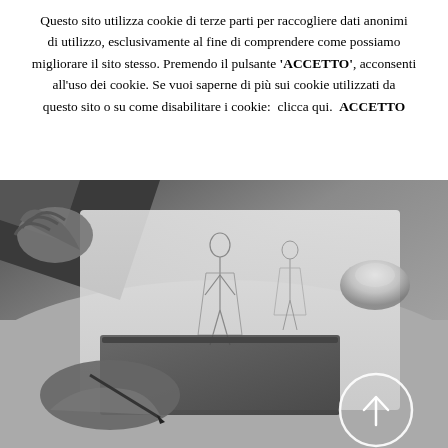Questo sito utilizza cookie di terze parti per raccogliere dati anonimi di utilizzo, esclusivamente al fine di comprendere come possiamo migliorare il sito stesso. Premendo il pulsante 'ACCETTO', acconsenti all'uso dei cookie. Se vuoi saperne di più sui cookie utilizzati da questo sito o su come disabilitare i cookie:  clicca qui.  ACCETTO
[Figure (photo): Black and white photograph of a person's hands drawing fashion sketches on paper, with a fabric book and a glass or crystal object in the background. A circular arrow/scroll-to-top button is overlaid in the lower right corner.]